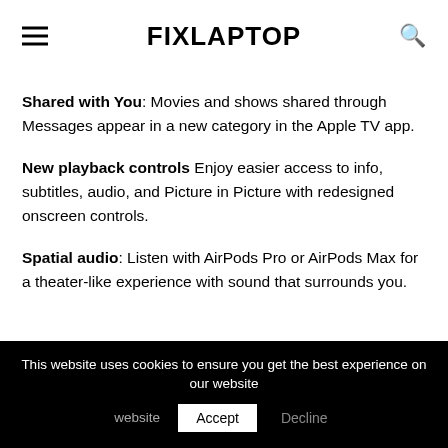FIXLAPTOP
Shared with You: Movies and shows shared through Messages appear in a new category in the Apple TV app.
New playback controls Enjoy easier access to info, subtitles, audio, and Picture in Picture with redesigned onscreen controls.
Spatial audio: Listen with AirPods Pro or AirPods Max for a theater-like experience with sound that surrounds you.
This website uses cookies to ensure you get the best experience on our website  Accept  Decline